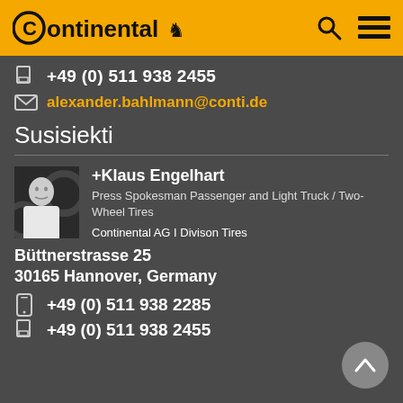Continental logo header with search and menu icons
+49 (0) 511 938 2455
alexander.bahlmann@conti.de
Susisiekti
[Figure (photo): Headshot photo of Klaus Engelhart]
+Klaus Engelhart
Press Spokesman Passenger and Light Truck / Two-Wheel Tires
Continental AG I Divison Tires
Büttnerstrasse 25
30165 Hannover, Germany
+49 (0) 511 938 2285
+49 (0) 511 938 2455